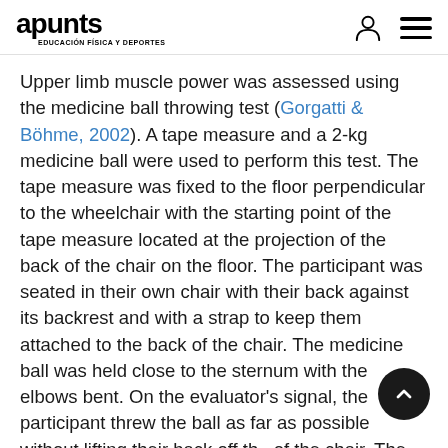apunts EDUCACIÓN FÍSICA Y DEPORTES
Upper limb muscle power was assessed using the medicine ball throwing test (Gorgatti & Böhme, 2002). A tape measure and a 2-kg medicine ball were used to perform this test. The tape measure was fixed to the floor perpendicular to the wheelchair with the starting point of the tape measure located at the projection of the back of the chair on the floor. The participant was seated in their own chair with their back against its backrest and with a strap to keep them attached to the back of the chair. The medicine ball was held close to the sternum with the elbows bent. On the evaluator's signal, the participant threw the ball as far as possible without lifting their back off the back of the chair. The throwing distance was recorded from the zero area to the point where the ball first